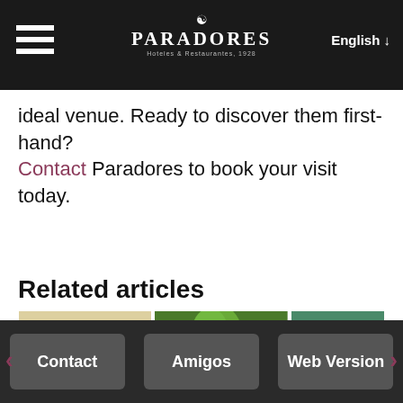Paradores Hoteles & Restaurantes 1928 | English
ideal venue. Ready to discover them first-hand? Contact Paradores to book your visit today.
Related articles
[Figure (photo): Three article thumbnail images in a carousel: a historic building with columns, palm trees with a lamp post, and a coastal aerial view with turquoise water]
Contact | Amigos | Web Version